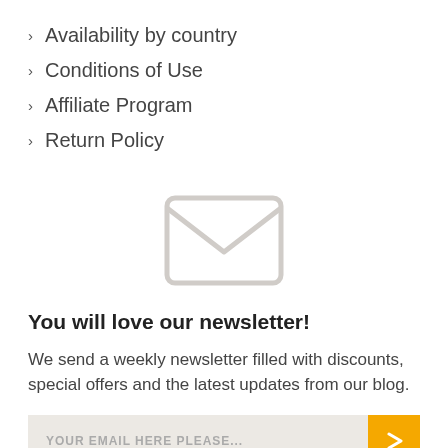Availability by country
Conditions of Use
Affiliate Program
Return Policy
[Figure (illustration): Large light gray outline envelope icon]
You will love our newsletter!
We send a weekly newsletter filled with discounts, special offers and the latest updates from our blog.
YOUR EMAIL HERE PLEASE...